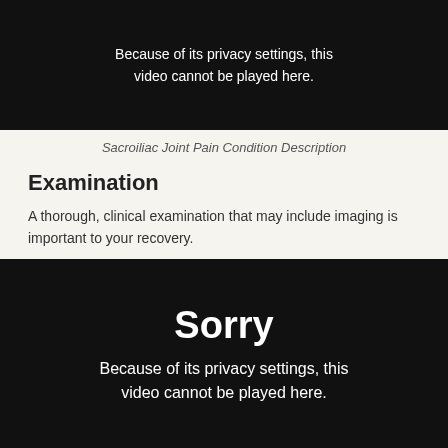[Figure (screenshot): Black video player placeholder showing 'Because of its privacy settings, this video cannot be played here.']
Sacroiliac Joint Pain Condition Description
Examination
A thorough, clinical examination that may include imaging is important to your recovery.
[Figure (screenshot): Black video player placeholder showing 'Sorry — Because of its privacy settings, this video cannot be played here.']